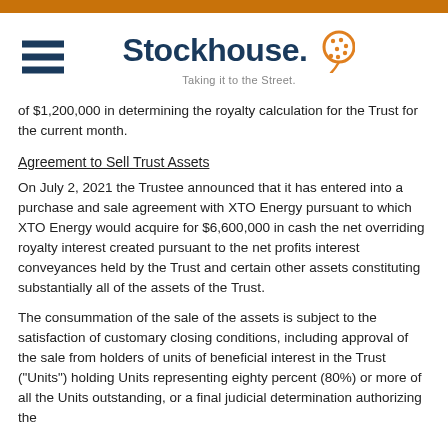Stockhouse - Taking it to the Street.
…of $1,200,000 in determining the royalty calculation for the Trust for the current month.
Agreement to Sell Trust Assets
On July 2, 2021 the Trustee announced that it has entered into a purchase and sale agreement with XTO Energy pursuant to which XTO Energy would acquire for $6,600,000 in cash the net overriding royalty interest created pursuant to the net profits interest conveyances held by the Trust and certain other assets constituting substantially all of the assets of the Trust.
The consummation of the sale of the assets is subject to the satisfaction of customary closing conditions, including approval of the sale from holders of units of beneficial interest in the Trust ("Units") holding Units representing eighty percent (80%) or more of all the Units outstanding, or a final judicial determination authorizing the